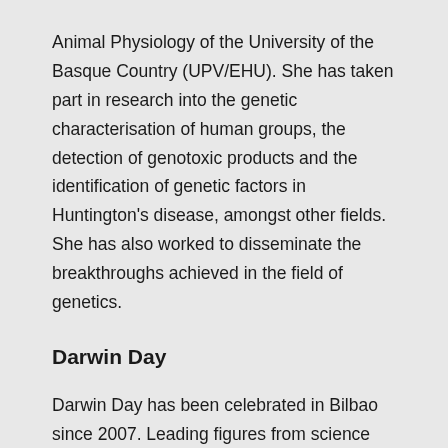Animal Physiology of the University of the Basque Country (UPV/EHU). She has taken part in research into the genetic characterisation of human groups, the detection of genotoxic products and the identification of genetic factors in Huntington's disease, amongst other fields. She has also worked to disseminate the breakthroughs achieved in the field of genetics.
Darwin Day
Darwin Day has been celebrated in Bilbao since 2007. Leading figures from science and dissemination, such as Francisco J. Ayala, Pilar Carbonero, Juan Luis Arsuaga and Manuel Toharia, among others, have participated in it, turning this event into a must